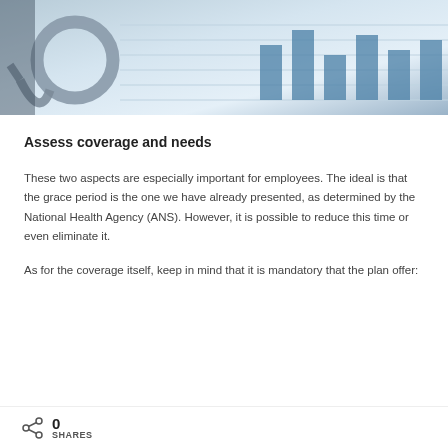[Figure (photo): Photo of a stethoscope resting on documents with bar chart graphs, blue-toned medical/financial imagery]
Assess coverage and needs
These two aspects are especially important for employees. The ideal is that the grace period is the one we have already presented, as determined by the National Health Agency (ANS). However, it is possible to reduce this time or even eliminate it.
As for the coverage itself, keep in mind that it is mandatory that the plan offer:
0 SHARES